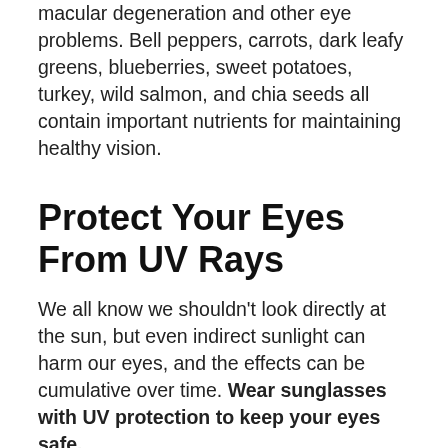macular degeneration and other eye problems. Bell peppers, carrots, dark leafy greens, blueberries, sweet potatoes, turkey, wild salmon, and chia seeds all contain important nutrients for maintaining healthy vision.
Protect Your Eyes From UV Rays
We all know we shouldn't look directly at the sun, but even indirect sunlight can harm our eyes, and the effects can be cumulative over time. Wear sunglasses with UV protection to keep your eyes safe.
Stop Smoking
Just as staying active is good for both your eyes and overall health, smoking is bad for your eyes and overall health. It greatly increases the risk of age-related macular degeneration as well as the well-